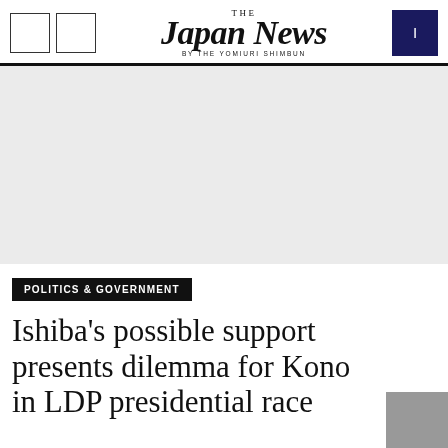THE JAPAN NEWS BY THE YOMIURI SHIMBUN
[Figure (other): Advertisement banner placeholder, light gray background]
POLITICS & GOVERNMENT
Ishiba's possible support presents dilemma for Kono in LDP presidential race